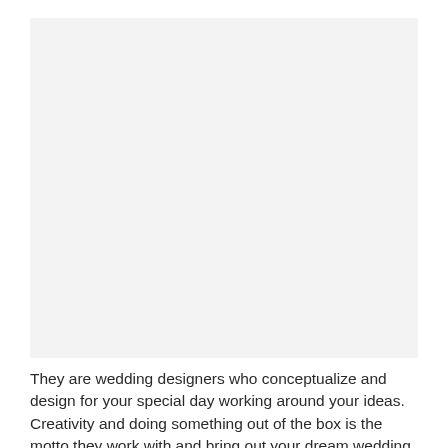[Figure (photo): Large image placeholder area with light gray background, representing a wedding-related photograph.]
They are wedding designers who conceptualize and design for your special day working around your ideas. Creativity and doing something out of the box is the motto they work with and bring out your dream wedding to life by being your paper to